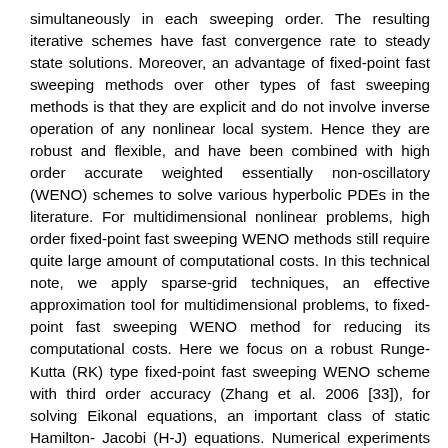simultaneously in each sweeping order. The resulting iterative schemes have fast convergence rate to steady state solutions. Moreover, an advantage of fixed-point fast sweeping methods over other types of fast sweeping methods is that they are explicit and do not involve inverse operation of any nonlinear local system. Hence they are robust and flexible, and have been combined with high order accurate weighted essentially non-oscillatory (WENO) schemes to solve various hyperbolic PDEs in the literature. For multidimensional nonlinear problems, high order fixed-point fast sweeping WENO methods still require quite large amount of computational costs. In this technical note, we apply sparse-grid techniques, an effective approximation tool for multidimensional problems, to fixed-point fast sweeping WENO method for reducing its computational costs. Here we focus on a robust Runge-Kutta (RK) type fixed-point fast sweeping WENO scheme with third order accuracy (Zhang et al. 2006 [33]), for solving Eikonal equations, an important class of static Hamilton-Jacobi (H-J) equations. Numerical experiments on solving multidimensional Eikonal equations and a more general static H-J equation are performed to show that the sparse grid computations of the fixed-point fast sweeping WENO scheme achieve large savings of CPU times on refined meshes, and at the same time maintain